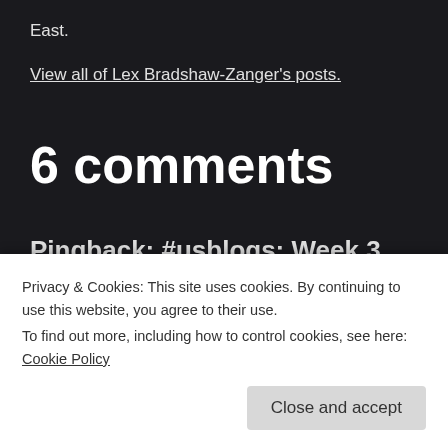East.
View all of Lex Bradshaw-Zanger's posts.
6 comments
Pingback: #usblogs: Week 3 Round-Up
“Building Your Offline Klout”
Privacy & Cookies: This site uses cookies. By continuing to use this website, you agree to their use.
To find out more, including how to control cookies, see here: Cookie Policy
Close and accept